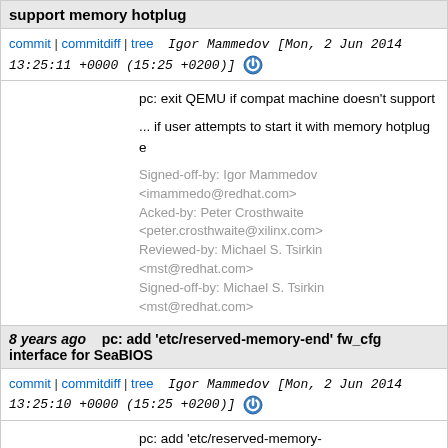support memory hotplug
commit | commitdiff | tree   Igor Mammedov [Mon, 2 Jun 2014 13:25:11 +0000 (15:25 +0200)]
pc: exit QEMU if compat machine doesn't support
... if user attempts to start it with memory hotplug e
Signed-off-by: Igor Mammedov <imammedo@redhat.com>
Acked-by: Peter Crosthwaite <peter.crosthwaite@xilinx.com>
Reviewed-by: Michael S. Tsirkin <mst@redhat.com>
Signed-off-by: Michael S. Tsirkin <mst@redhat.com>
8 years ago  pc: add 'etc/reserved-memory-end' fw_cfg interface for SeaBIOS
commit | commitdiff | tree   Igor Mammedov [Mon, 2 Jun 2014 13:25:10 +0000 (15:25 +0200)]
pc: add 'etc/reserved-memory-end' fw_cfg interface for SeaBIOS
'etc/reserved-memory-end' will allow QEMU to tell BIOS where PCI BARs mapping could safely start in high memory.